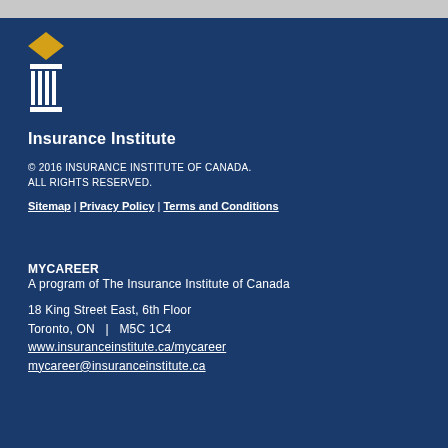[Figure (logo): Insurance Institute of Canada logo — gold diamond shape above white column/pillar icon]
Insurance Institute
© 2016 INSURANCE INSTITUTE OF CANADA. ALL RIGHTS RESERVED.
Sitemap | Privacy Policy | Terms and Conditions
MYCAREER
A program of The Insurance Institute of Canada
18 King Street East, 6th Floor
Toronto, ON   |  M5C 1C4
www.insuranceinstitute.ca/mycareer
mycareer@insuranceinstitute.ca